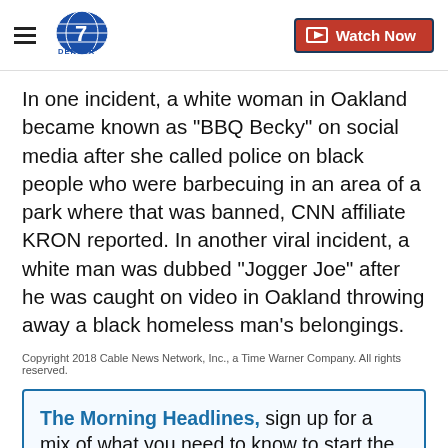Denver 7 | Watch Now
In one incident, a white woman in Oakland became known as "BBQ Becky" on social media after she called police on black people who were barbecuing in an area of a park where that was banned, CNN affiliate KRON reported. In another viral incident, a white man was dubbed "Jogger Joe" after he was caught on video in Oakland throwing away a black homeless man's belongings.
Copyright 2018 Cable News Network, Inc., a Time Warner Company. All rights reserved.
The Morning Headlines, sign up for a mix of what you need to know to start the day